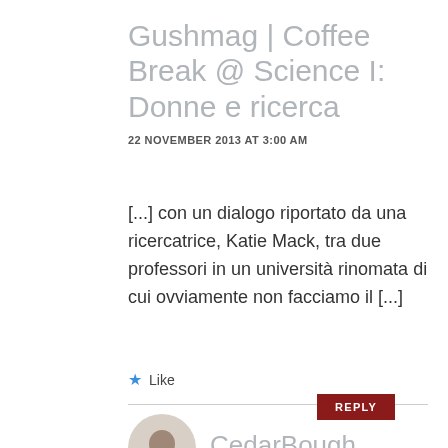Gushmag | Coffee Break @ Science I: Donne e ricerca
22 NOVEMBER 2013 AT 3:00 AM
[...] con un dialogo riportato da una ricercatrice, Katie Mack, tra due professori in un università rinomata di cui ovviamente non facciamo il [...]
★ Like
REPLY
CedarBough